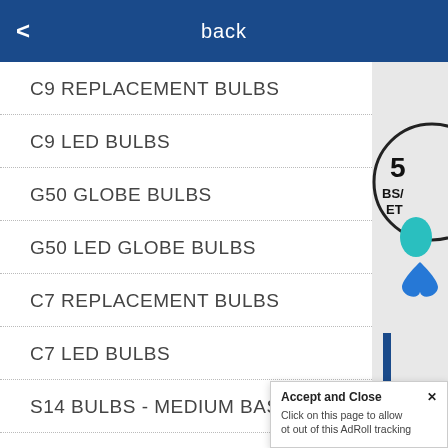back
C9 REPLACEMENT BULBS
C9 LED BULBS
G50 GLOBE BULBS
G50 LED GLOBE BULBS
C7 REPLACEMENT BULBS
C7 LED BULBS
S14 BULBS - MEDIUM BASE (E26)
S14 LED BULBS - MEDIUM BASE (E26)
Accept and Close ✕
Click on this page to allow
ot out of this AdRoll tracking